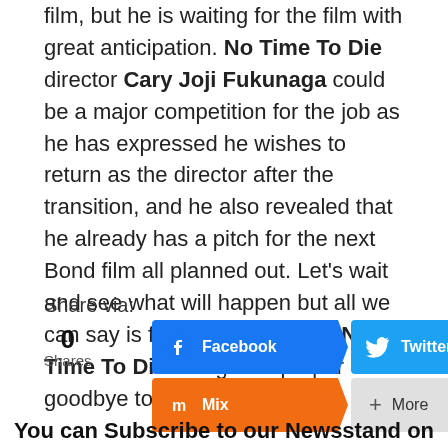film, but he is waiting for the film with great anticipation. No Time To Die director Cary Joji Fukunaga could be a major competition for the job as he has expressed he wishes to return as the director after the transition, and he also revealed that he already has a pitch for the next Bond film all planned out. Let's wait and see what will happen but all we can say is for now go and see No Time To Die and give a proper goodbye to Craig's 007.
Share via:
[Figure (screenshot): Social share buttons: Facebook (blue), Twitter (blue), Copy Link (dark), Mix (orange), More (gray)]
0 Shares
You can Subscribe to our Newsstand on